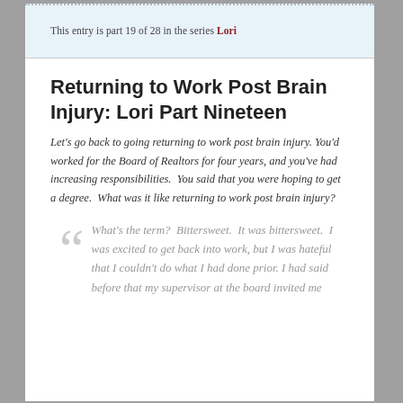This entry is part 19 of 28 in the series Lori
Returning to Work Post Brain Injury: Lori Part Nineteen
Let's go back to going returning to work post brain injury. You'd worked for the Board of Realtors for four years, and you've had increasing responsibilities.  You said that you were hoping to get a degree.  What was it like returning to work post brain injury?
What's the term?  Bittersweet.  It was bittersweet.  I was excited to get back into work, but I was hateful that I couldn't do what I had done prior. I had said before that my supervisor at the board invited me